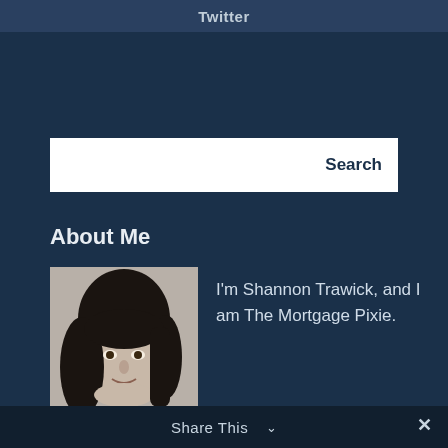Twitter
Search
About Me
[Figure (photo): Black and white portrait photo of Shannon Trawick]
I'm Shannon Trawick, and I am The Mortgage Pixie.
Share This ∨  ✕